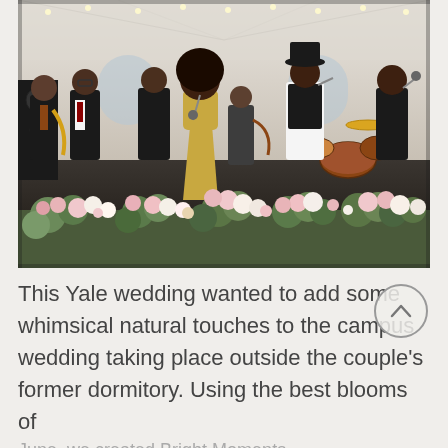[Figure (photo): A live band performing at a wedding reception inside a white tent marquee. The band includes multiple musicians in black suits, a female lead singer in a gold dress, saxophone player, guitar player, and drummer. The stage is decorated with lush floral arrangements of pink, white, and green blooms in the foreground. String lights illuminate the white tent ceiling.]
This Yale wedding wanted to add some whimsical natural touches to the campus wedding taking place outside the couple's former dormitory. Using the best blooms of June, we created Bright Moments...